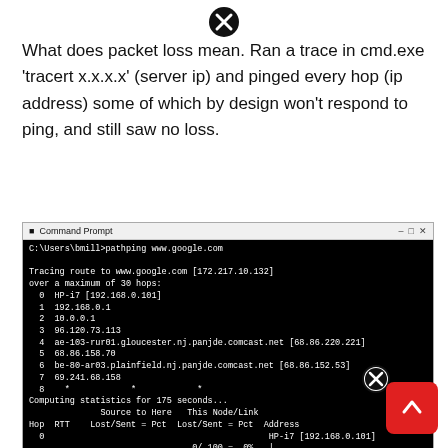[Figure (other): Error/close icon - black circle with X]
What does packet loss mean. Ran a trace in cmd.exe 'tracert x.x.x.x' (server ip) and pinged every hop (ip address) some of which by design won't respond to ping, and still saw no loss.
[Figure (screenshot): Command Prompt window showing pathping www.google.com output. Tracing route to www.google.com [172.217.10.132] over a maximum of 30 hops, listing hops 0-8 then computing statistics for 175 seconds with Source to Here and This Node/Link Lost/Sent = Pct columns. Hops shown: 0 HP-i7 [192.168.0.101], 1 192.168.0.1, 2 10.0.0.1, 3 96.120.73.113, 4 ae-103-rur01.gloucester.nj.panjde.comcast.net [68.86.220.221], 5 68.86.158.70, 6 be-80-ar03.plainfield.nj.panjde.comcast.net [68.86.152.53], 7 69.241.68.158, 8 * * *. Statistics rows shown for hops 0-3.]